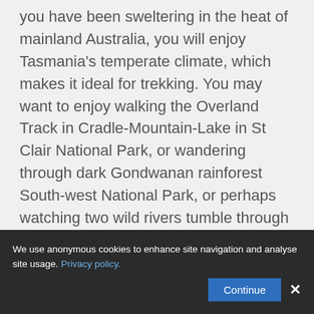you have been sweltering in the heat of mainland Australia, you will enjoy Tasmania's temperate climate, which makes it ideal for trekking. You may want to enjoy walking the Overland Track in Cradle-Mountain-Lake in St Clair National Park, or wandering through dark Gondwanan rainforest South-west National Park, or perhaps watching two wild rivers tumble through valleys as if they are one in the Franklin-Gordon Wild Rivers National Park. Although small by Australian standards, the island is on a similar scale to Britain and not only offers a rich diversity of landscapes and wilderness, but many other attractions too. Its relatively small size means that you can visit most places without spending long hours on a bus, or in the
We use anonymous cookies to enhance site navigation and analyse site usage. Privacy policy.